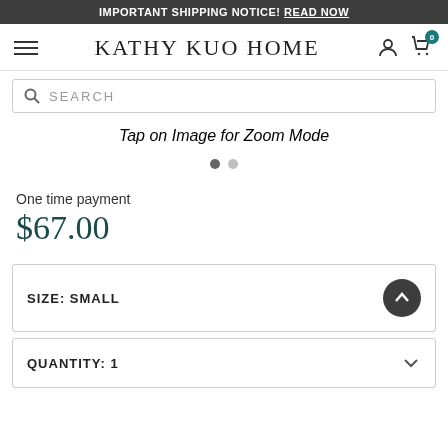IMPORTANT SHIPPING NOTICE! READ NOW
[Figure (logo): Kathy Kuo Home logo with hamburger menu, user icon, and cart icon with badge 0]
[Figure (other): Search bar with magnifying glass icon and SEARCH placeholder text]
Tap on Image for Zoom Mode
[Figure (other): Image carousel with two navigation dots, first dot active]
One time payment
$67.00
SIZE: SMALL
QUANTITY: 1